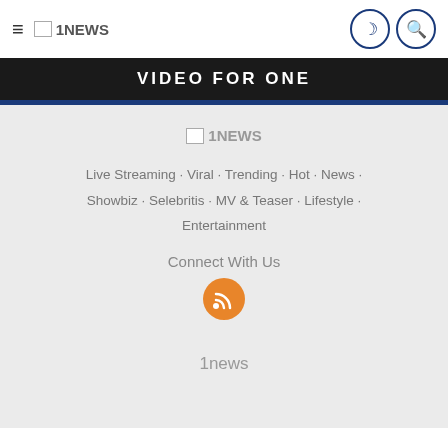≡ 1NEWS
[Figure (screenshot): Dark banner strip with bold text partially visible, showing a video/media banner in dark background]
1NEWS
Live Streaming · Viral · Trending · Hot · News · Showbiz · Selebritis · MV & Teaser · Lifestyle · Entertainment
Connect With Us
[Figure (logo): Orange circular RSS feed icon]
1news